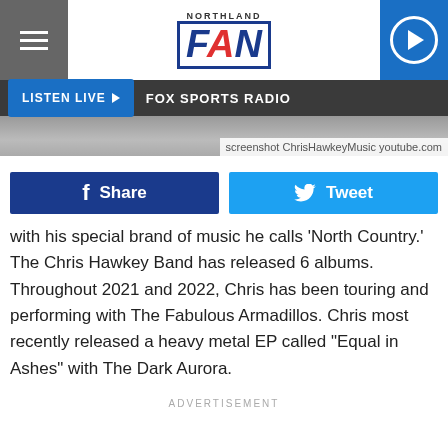NORTHLAND FAN
LISTEN LIVE ▶  FOX SPORTS RADIO
screenshot ChrisHawkeyMusic youtube.com
Share
Tweet
with his special brand of music he calls 'North Country.' The Chris Hawkey Band has released 6 albums. Throughout 2021 and 2022, Chris has been touring and performing with The Fabulous Armadillos. Chris most recently released a heavy metal EP called "Equal in Ashes" with The Dark Aurora.
ADVERTISEMENT